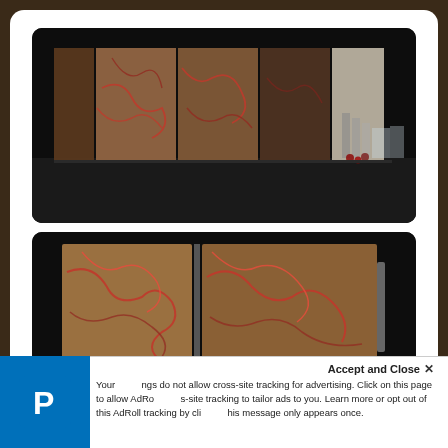[Figure (photo): Top image: decorative art panels with organic veining pattern in brown, beige and red tones arranged on a dark shelf, displayed against a black background with rounded corners]
[Figure (photo): Bottom image: close-up of similar decorative art panels opened like a book, showing brown and red veining pattern on a dark background with rounded corners]
Accept and Close ✕
Your [settings] do not allow cross-site tracking for advertising. Click on this page to allow AdRo[ll cross-]site tracking to tailor ads to you. Learn more or opt out of this AdRoll tracking by cli[cking t]his message only appears once.